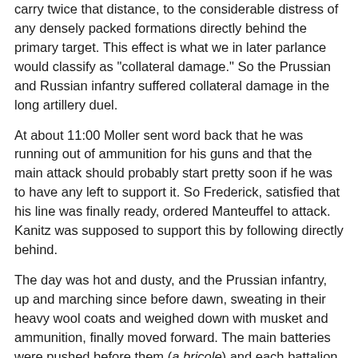carry twice that distance, to the considerable distress of any densely packed formations directly behind the primary target. This effect is what we in later parlance would classify as "collateral damage." So the Prussian and Russian infantry suffered collateral damage in the long artillery duel.
At about 11:00 Moller sent word back that he was running out of ammunition for his guns and that the main attack should probably start pretty soon if he was to have any left to support it. So Frederick, satisfied that his line was finally ready, ordered Manteuffel to attack. Kanitz was supposed to support this by following directly behind.
The day was hot and dusty, and the Prussian infantry, up and marching since before dawn, sweating in their heavy wool coats and weighed down with musket and ammunition, finally moved forward. The main batteries were pushed before them (a bricole) and each battalion had a pair of its own lighter, close support guns (3 and 6 pounders). It would have taken about 20 minutes to cover the distance to the Russian line, during which time they would have been mercifully masked by the smoke and dust. Manteuffel had